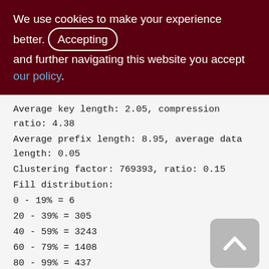We use cookies to make your experience better. By accepting and further navigating this website you accept our policy.
Average key length: 2.05, compression ratio: 4.38
Average prefix length: 8.95, average data length: 0.05
Clustering factor: 769393, ratio: 0.15
Fill distribution:
0 - 19% = 6
20 - 39% = 305
40 - 59% = 3243
60 - 79% = 1408
80 - 99% = 437